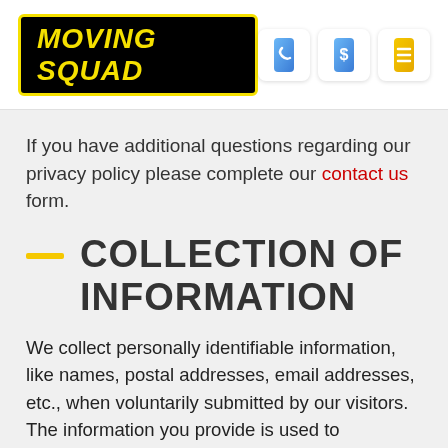MOVING SQUAD
If you have additional questions regarding our privacy policy please complete our contact us form.
COLLECTION OF INFORMATION
We collect personally identifiable information, like names, postal addresses, email addresses, etc., when voluntarily submitted by our visitors. The information you provide is used to